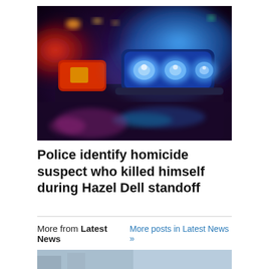[Figure (photo): Close-up of police car emergency lights (blue and red sirens) lit up at night, glowing on the roof of a patrol car with a dark background]
Police identify homicide suspect who killed himself during Hazel Dell standoff
More from Latest News   More posts in Latest News »
[Figure (photo): Partial view of another news article image at the bottom of the page]